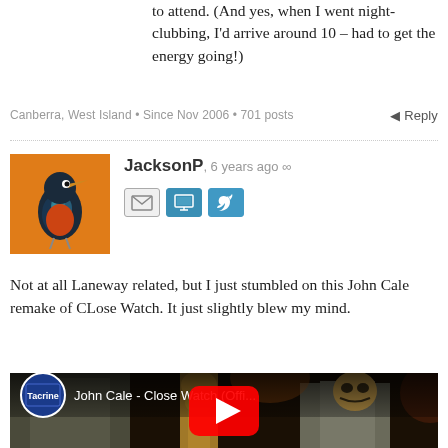to attend. (And yes, when I went night-clubbing, I'd arrive around 10 – had to get the energy going!)
Canberra, West Island • Since Nov 2006 • 701 posts
Reply
[Figure (photo): Avatar image of a bird (kingfisher) on an orange background for user JacksonP]
JacksonP, 6 years ago ∞
[Figure (infographic): Three social/contact icon buttons: envelope (email), monitor (website), Twitter bird icon]
Not at all Laneway related, but I just stumbled on this John Cale remake of CLose Watch. It just slightly blew my mind.
[Figure (screenshot): YouTube video embed thumbnail showing 'John Cale - Close Watch (Offi...' with a play button, channel icon, and a scene of a man in a suit with a mask in a dimly lit venue]